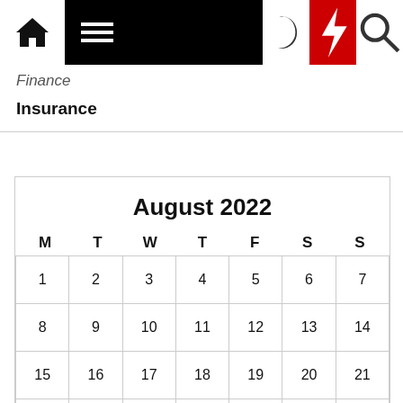Finance / Insurance navigation bar
Finance
Insurance
| M | T | W | T | F | S | S |
| --- | --- | --- | --- | --- | --- | --- |
| 1 | 2 | 3 | 4 | 5 | 6 | 7 |
| 8 | 9 | 10 | 11 | 12 | 13 | 14 |
| 15 | 16 | 17 | 18 | 19 | 20 | 21 |
| 22 | 23 | 24 | 25 | 26 | 27 | 28 |
| 29 | 30 | 31 |  |  |  |  |